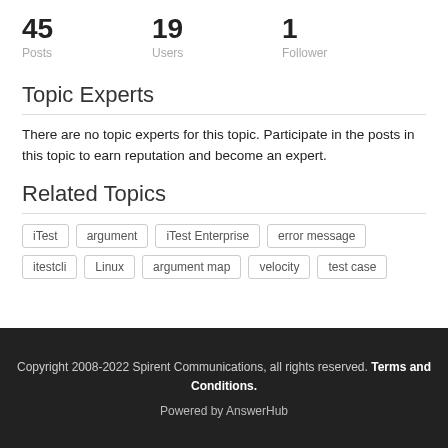45 Posts  19 Users  1 Follower
Topic Experts
There are no topic experts for this topic. Participate in the posts in this topic to earn reputation and become an expert.
Related Topics
iTest
argument
iTest Enterprise
error message
itestcli
Linux
argument map
velocity
test case
Copyright 2008-2022 Spirent Communications, all rights reserved. Terms and Conditions. Powered by AnswerHub